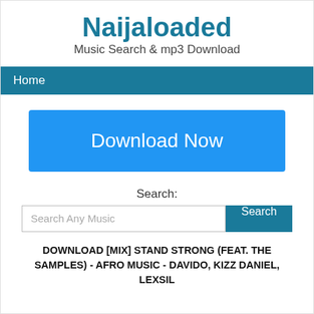Naijaloaded
Music Search & mp3 Download
Home
[Figure (screenshot): Blue Download Now button]
Search:
Search Any Music  Search
DOWNLOAD [MIX] STAND STRONG (FEAT. THE SAMPLES) - AFRO MUSIC - DAVIDO, KIZZ DANIEL, LEXSIL